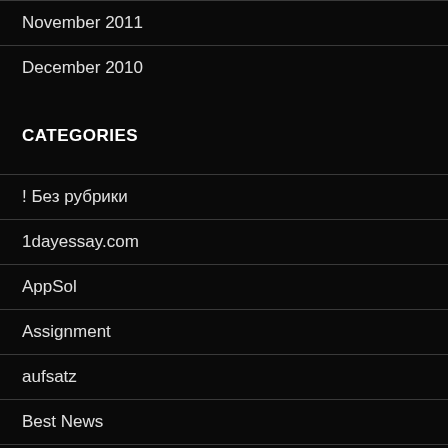November 2011
December 2010
CATEGORIES
! Без рубрики
1dayessay.com
AppSol
Assignment
aufsatz
Best News
Blog
casino